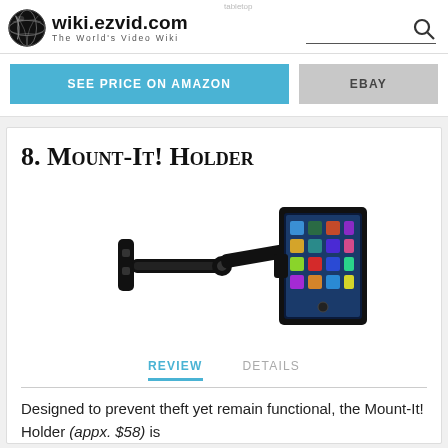wiki.ezvid.com — The World's Video Wiki
SEE PRICE ON AMAZON | EBAY
8. Mount-It! Holder
[Figure (photo): Photo of the Mount-It! Holder, a wall-mounted tablet holder with a black articulating arm holding an iPad displaying app icons.]
REVIEW   DETAILS
Designed to prevent theft yet remain functional, the Mount-It! Holder (appx. $58) is